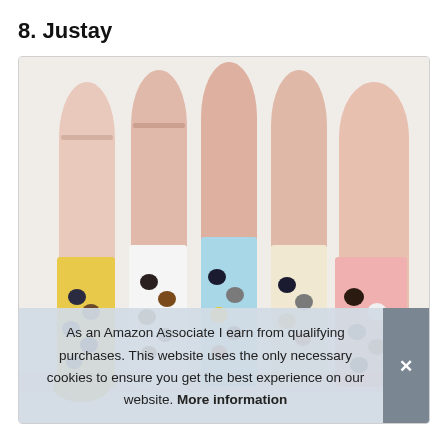8. Justay
[Figure (photo): Five pairs of ankle socks displayed on mannequin legs. The socks are in yellow, white, light blue, cream/beige, and pink colors, all featuring cute cat face prints scattered across them.]
As an Amazon Associate I earn from qualifying purchases. This website uses the only necessary cookies to ensure you get the best experience on our website. More information